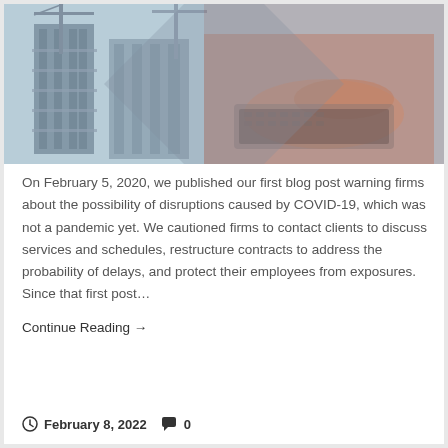[Figure (photo): Double-exposure composite photo of a building construction site with cranes and scaffolding overlaid with a person typing on a laptop keyboard]
On February 5, 2020, we published our first blog post warning firms about the possibility of disruptions caused by COVID-19, which was not a pandemic yet. We cautioned firms to contact clients to discuss services and schedules, restructure contracts to address the probability of delays, and protect their employees from exposures. Since that first post…
Continue Reading →
February 8, 2022   0